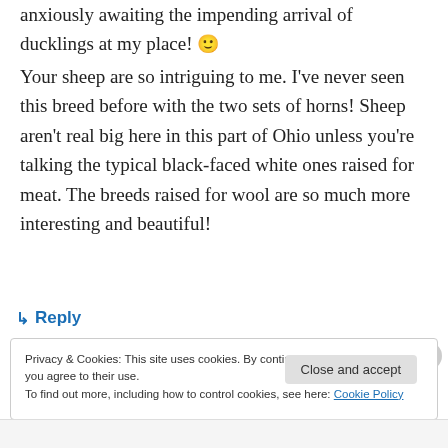anxiously awaiting the impending arrival of ducklings at my place! 🙂
Your sheep are so intriguing to me. I've never seen this breed before with the two sets of horns! Sheep aren't real big here in this part of Ohio unless you're talking the typical black-faced white ones raised for meat. The breeds raised for wool are so much more interesting and beautiful!
↳ Reply
Privacy & Cookies: This site uses cookies. By continuing to use this website, you agree to their use.
To find out more, including how to control cookies, see here: Cookie Policy
Close and accept